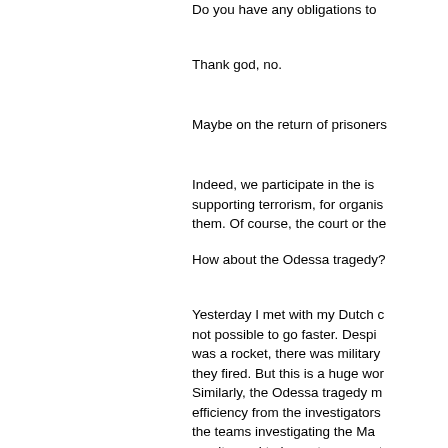Do you have any obligations to
Thank god, no.
Maybe on the return of prisoners
Indeed, we participate in the is supporting terrorism, for organis them. Of course, the court or the
How about the Odessa tragedy?
Yesterday I met with my Dutch c not possible to go faster. Despi was a rocket, there was military they fired. But this is a huge wor
Similarly, the Odessa tragedy m efficiency from the investigators the teams investigating the Ma results, and to honest answers t
Georgi Gotev | EurActiv.com 16.
Джерело:  www.euractiv.com/se scale/